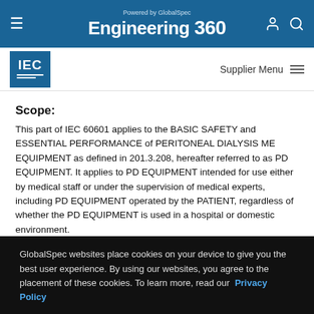Powered by GlobalSpec Engineering 360
IEC logo | Supplier Menu
Scope:
This part of IEC 60601 applies to the BASIC SAFETY and ESSENTIAL PERFORMANCE of PERITONEAL DIALYSIS ME EQUIPMENT as defined in 201.3.208, hereafter referred to as PD EQUIPMENT. It applies to PD EQUIPMENT intended for use either by medical staff or under the supervision of medical experts, including PD EQUIPMENT operated by the PATIENT, regardless of whether the PD EQUIPMENT is used in a hospital or domestic environment.
GlobalSpec websites place cookies on your device to give you the best user experience. By using our websites, you agree to the placement of these cookies. To learn more, read our Privacy Policy